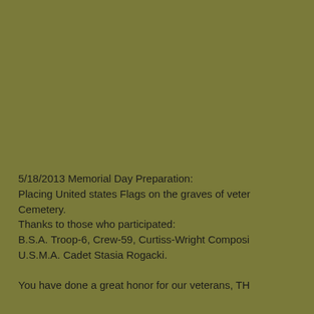5/18/2013 Memorial Day Preparation:
Placing United states Flags on the graves of veterans at Cemetery.
Thanks to those who participated:
B.S.A. Troop-6, Crew-59, Curtiss-Wright Composites,
U.S.M.A. Cadet Stasia Rogacki.

You have done a great honor for our veterans, TH...